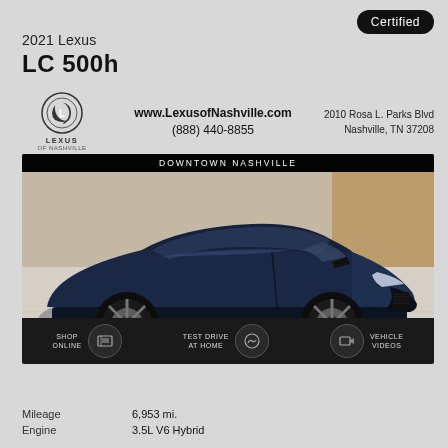Certified
2021 Lexus LC 500h
[Figure (logo): Lexus of Nashville logo with oval L emblem]
www.LexusofNashville.com
(888) 440-8855
2010 Rosa L. Parks Blvd
Nashville, TN 37208
[Figure (photo): Dark navy blue 2021 Lexus LC 500h coupe photographed in a showroom, front three-quarter view. Banner reads DOWNTOWN NASHVILLE. Bottom bar shows SHOP ONLINE, TEST DRIVE AT HOME, and VEHICLE VIDEOS icons.]
Mileage	6,953 mi.
Engine	3.5L V6 Hybrid